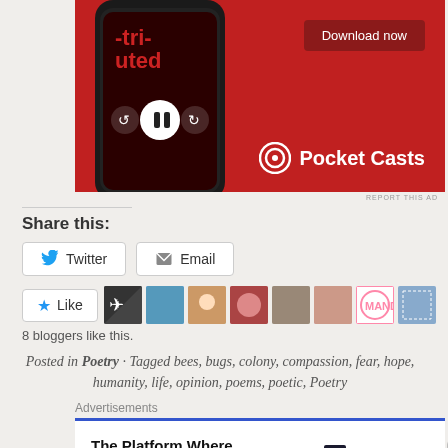[Figure (photo): Pocket Casts advertisement banner showing a smartphone on a red background with 'Download now' button and Pocket Casts logo]
REPORT THIS AD
Share this:
Twitter
Email
Like
8 bloggers like this.
Posted in Poetry · Tagged bees, bugs, colony, compassion, fear, hope, humanity, life, opinion, poems, poetic, Poetry
Advertisements
[Figure (screenshot): Pressable advertisement: 'The Platform Where WordPress Works Best' with Pressable logo]